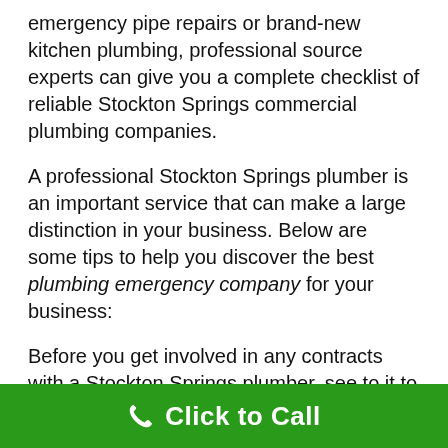emergency pipe repairs or brand-new kitchen plumbing, professional source experts can give you a complete checklist of reliable Stockton Springs commercial plumbing companies.
A professional Stockton Springs plumber is an important service that can make a large distinction in your business. Below are some tips to help you discover the best plumbing emergency company for your business:
Before you get involved in any contracts with a Stockton Springs plumber, see to it to research their reputation and ask loved ones members for suggestions. It's additionally important to bear in mind to let your plumber understand what you wish to be done, so there will certainly be a strategy in place if points go wrong. Having a plan will certainly allow for faster repairs and also much
Click to Call